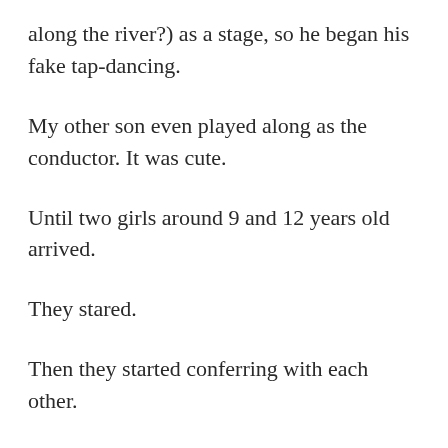along the river?) as a stage, so he began his fake tap-dancing.
My other son even played along as the conductor. It was cute.
Until two girls around 9 and 12 years old arrived.
They stared.
Then they started conferring with each other.
Then they started laughing overtly.